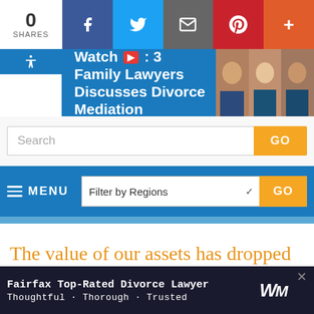0 SHARES | Facebook | Twitter | Email | Pinterest | More
[Figure (screenshot): Website banner showing 'Watch [YouTube icon] : 3 Family Lawyers Discusses Divorce Mediation' with photos of three lawyers on a blue background]
[Figure (screenshot): Search bar with 'Search' placeholder text and orange 'GO' button]
[Figure (screenshot): Navigation bar with MENU (hamburger icon) and 'Filter by Regions' dropdown with orange GO button]
The value of our assets has dropped substantially, but my wife
[Figure (screenshot): Ad banner: 'Fairfax Top-Rated Divorce Lawyer — Thoughtful · Thorough · Trusted' with WM logo and X close button]